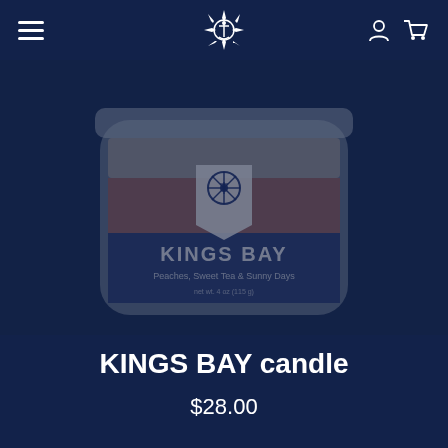Navigation bar with hamburger menu, anchor compass logo, user and cart icons
[Figure (photo): A candle jar with navy blue and peach/orange label reading KINGS BAY, Peaches, Sweet Tea & Sunny Days, displayed against a dark navy blue background with a semi-transparent overlay]
KINGS BAY candle
$28.00